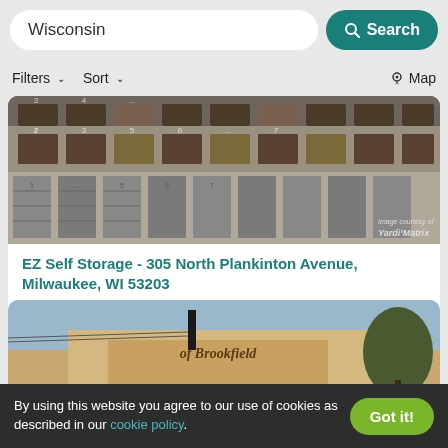Wisconsin
Search
Filters
Sort
Map
[Figure (photo): Exterior photo of a multi-story brick building with numbered storage unit doors, image courtesy of Yardi Matrix]
EZ Self Storage - 305 North Plankinton Avenue, Milwaukee, WI 53203
SELF STORAGE
[Figure (photo): Exterior photo of a storage facility building with a sign reading 'of Brookfield']
By using this website you agree to our use of cookies as described in our cookie policy.
Got it!